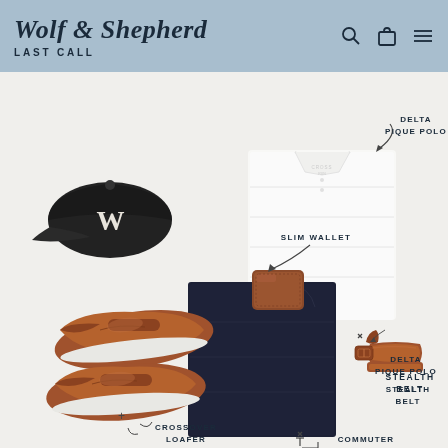Wolf & Shepherd — LAST CALL
[Figure (photo): Flat-lay product photo showing a Wolf & Shepherd outfit: a black baseball cap with W logo, a white folded Delta Pique Polo shirt, a brown leather slim wallet, dark navy Commuter Pant folded, a pair of tan/brown Crossover Loafer shoes, and a brown leather Stealth Belt. Annotation arrows and labels identify each product.]